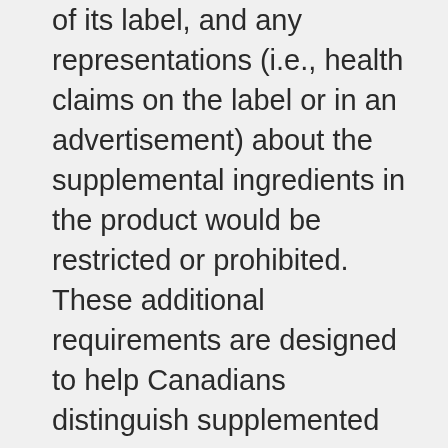of its label, and any representations (i.e., health claims on the label or in an advertisement) about the supplemental ingredients in the product would be restricted or prohibited. These additional requirements are designed to help Canadians distinguish supplemented foods from regular food, understand the health risks associated with these products, and make more informed choices related to their consumption.

Lastly, the proposed amendments would create a submission process for